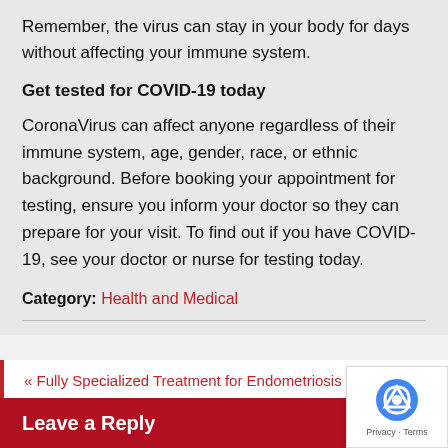Remember, the virus can stay in your body for days without affecting your immune system.
Get tested for COVID-19 today
CoronaVirus can affect anyone regardless of their immune system, age, gender, race, or ethnic background. Before booking your appointment for testing, ensure you inform your doctor so they can prepare for your visit. To find out if you have COVID-19, see your doctor or nurse for testing today.
Category: Health and Medical
« Fully Specialized Treatment for Endometriosis in New York
Medical Marijuana- A Guide to Dry HerbVapor
Leave a Reply